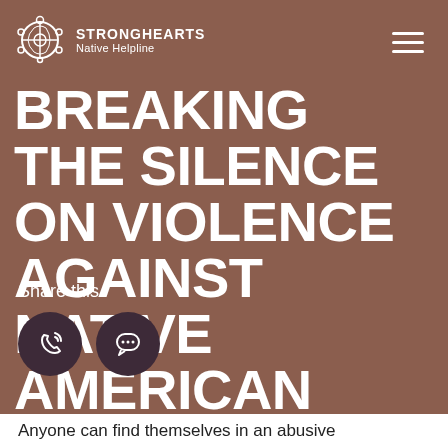STRONGHEARTS Native Helpline
BREAKING THE SILENCE ON VIOLENCE AGAINST NATIVE AMERICAN MEN
Share this
Anyone can find themselves in an abusive